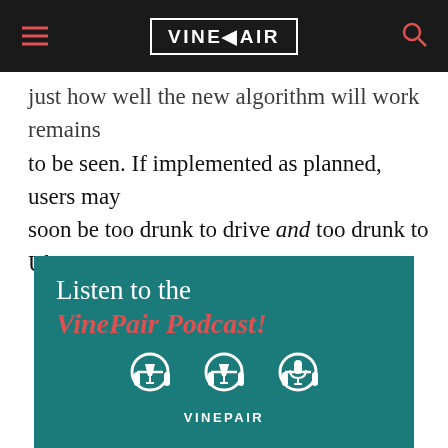VinePair
just how well the new algorithm will work remains to be seen. If implemented as planned, users may soon be too drunk to drive and too drunk to Uber.
[Figure (infographic): VinePair Podcast advertisement banner with teal background, text 'Listen to the VinePair Podcast!' in white and red italic, with microphone/headphone icons and VinePair logo at bottom.]